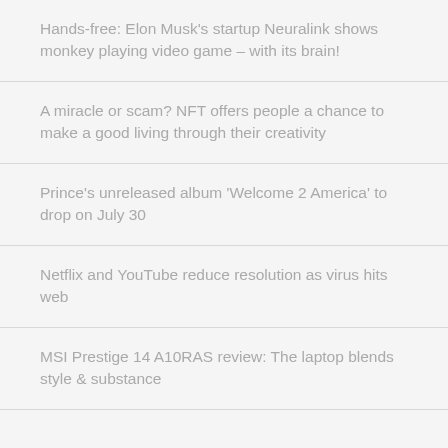Hands-free: Elon Musk's startup Neuralink shows monkey playing video game – with its brain!
A miracle or scam? NFT offers people a chance to make a good living through their creativity
Prince's unreleased album 'Welcome 2 America' to drop on July 30
Netflix and YouTube reduce resolution as virus hits web
MSI Prestige 14 A10RAS review: The laptop blends style & substance